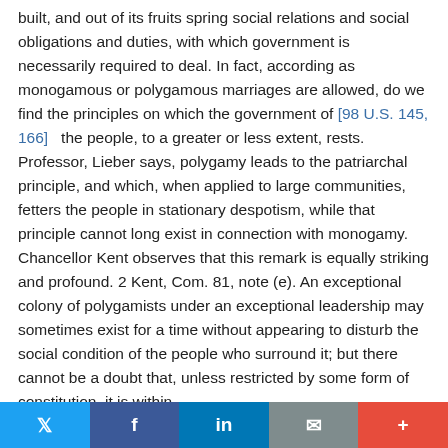built, and out of its fruits spring social relations and social obligations and duties, with which government is necessarily required to deal. In fact, according as monogamous or polygamous marriages are allowed, do we find the principles on which the government of [98 U.S. 145, 166] the people, to a greater or less extent, rests. Professor, Lieber says, polygamy leads to the patriarchal principle, and which, when applied to large communities, fetters the people in stationary despotism, while that principle cannot long exist in connection with monogamy. Chancellor Kent observes that this remark is equally striking and profound. 2 Kent, Com. 81, note (e). An exceptional colony of polygamists under an exceptional leadership may sometimes exist for a time without appearing to disturb the social condition of the people who surround it; but there cannot be a doubt that, unless restricted by some form of constitution, it is within
Twitter | Facebook | LinkedIn | Email | More